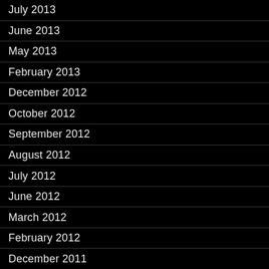July 2013
June 2013
May 2013
February 2013
December 2012
October 2012
September 2012
August 2012
July 2012
June 2012
March 2012
February 2012
December 2011